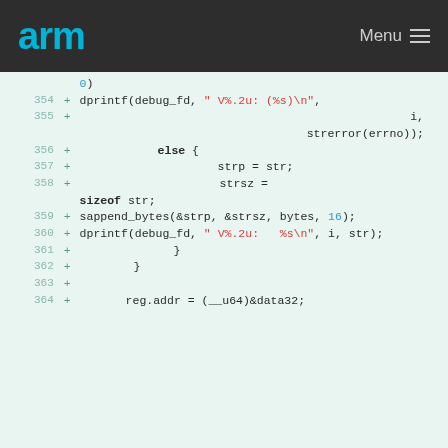arm  Menu
[Figure (screenshot): Code diff view showing lines 354-364 of a C source file with added lines (marked with +). Lines include dprintf calls, strsz assignment with sizeof, sappend_bytes call, and reg.addr assignment. Code uses monospace font on light green background.]